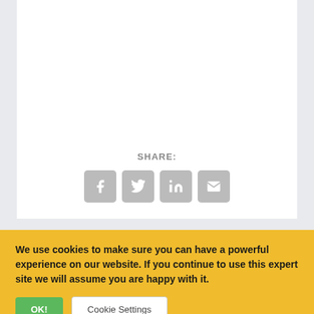SHARE:
[Figure (other): Social share icons for Facebook, Twitter, LinkedIn, and Email]
< Previous
Sustainable and eco-friendly way of recycling
Next >
Qualification for equipment supplier within
We use cookies to make sure you can have a powerful experience on our website. If you continue to use this expert site we will assume you are happy with it.
OK!
Cookie Settings